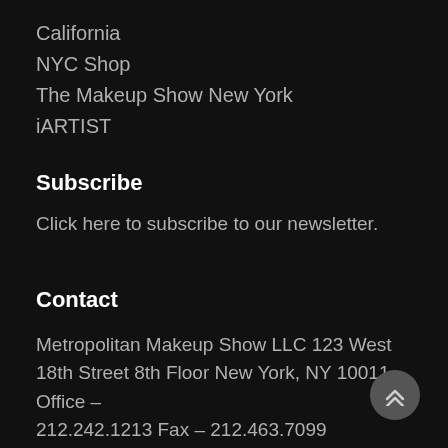California
NYC Shop
The Makeup Show New York
iARTIST
Subscribe
Click here to subscribe to our newsletter.
Contact
Metropolitan Makeup Show LLC 123 West 18th Street 8th Floor New York, NY 10011 Office – 212.242.1213 Fax – 212.463.7099